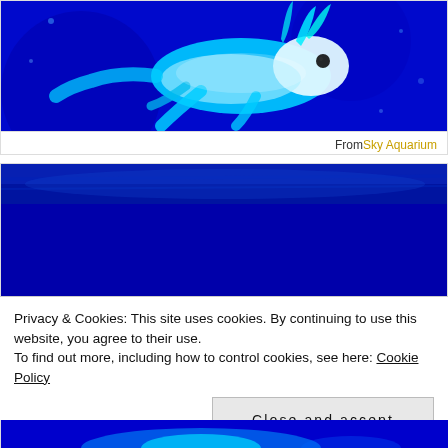[Figure (photo): Underwater photograph of an axolotl (salamander) glowing blue/cyan under ultraviolet or blue light against a dark blue background]
From Sky Aquarium
[Figure (photo): Deep blue underwater scene, mostly dark blue with slight texture at top]
Privacy & Cookies: This site uses cookies. By continuing to use this website, you agree to their use.
To find out more, including how to control cookies, see here: Cookie Policy
Close and accept
[Figure (photo): Bottom strip of blue underwater image showing glowing aquatic creature]